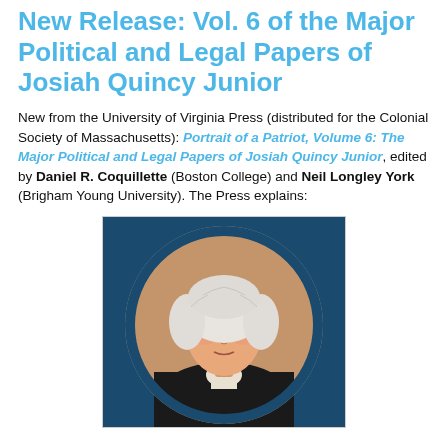New Release: Vol. 6 of the Major Political and Legal Papers of Josiah Quincy Junior
New from the University of Virginia Press (distributed for the Colonial Society of Massachusetts): Portrait of a Patriot, Volume 6: The Major Political and Legal Papers of Josiah Quincy Junior, edited by Daniel R. Coquillette (Boston College) and Neil Longley York (Brigham Young University). The Press explains:
[Figure (photo): Portrait painting of Josiah Quincy Junior, showing a man with white powdered wig, wearing a dark coat with white cravat, depicted in an oval frame against a dark blue background.]